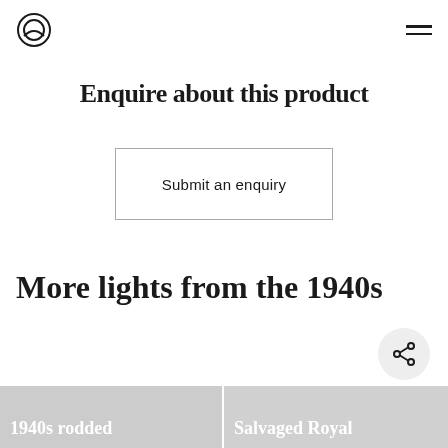Logo and navigation menu
Enquire about this product
Submit an enquiry
More lights from the 1940s
1940s rodded
Salvaged Royal